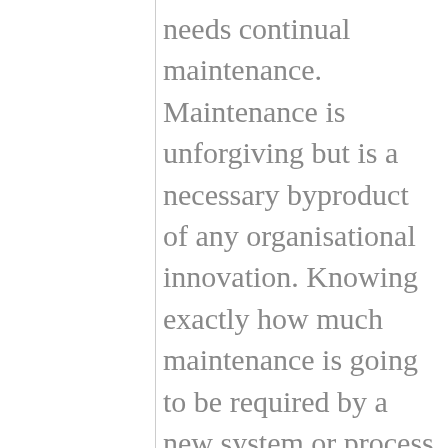needs continual maintenance. Maintenance is unforgiving but is a necessary byproduct of any organisational innovation. Knowing exactly how much maintenance is going to be required by a new system or process requires skilled staff with a deep understanding of what has been made and